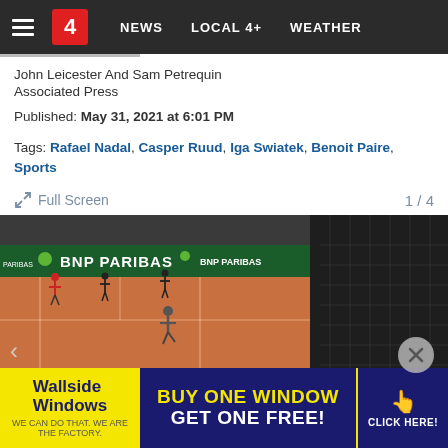4  NEWS  LOCAL 4+  WEATHER
John Leicester And Sam Petrequin
Associated Press
Published: May 31, 2021 at 6:01 PM
Tags: Rafael Nadal, Casper Ruud, Iga Swiatek, Benoit Paire, Sports
Full Screen  1 / 4
[Figure (photo): Aerial view of a clay tennis court during a match at Roland Garros with BNP Paribas advertising boards visible around the court.]
[Figure (other): Wallside Windows advertisement banner: BUY ONE WINDOW GET ONE FREE! CLICK HERE!]